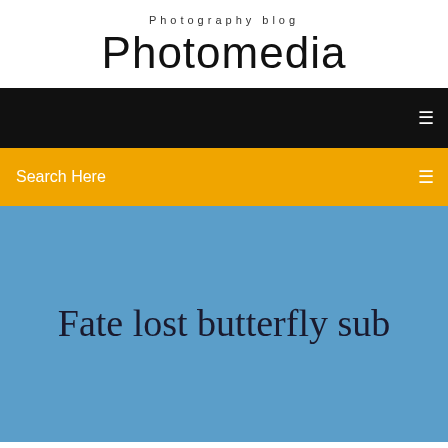Photography blog
Photomedia
Search Here
Fate lost butterfly sub